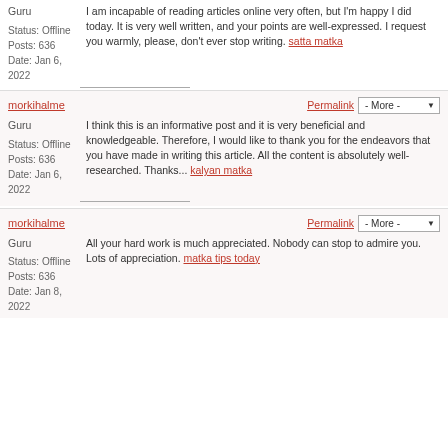Guru
Status: Offline
Posts: 636
Date: Jan 6, 2022
I am incapable of reading articles online very often, but I'm happy I did today. It is very well written, and your points are well-expressed. I request you warmly, please, don't ever stop writing. satta matka
morkihalme
Permalink
- More -
Guru
Status: Offline
Posts: 636
Date: Jan 6, 2022
I think this is an informative post and it is very beneficial and knowledgeable. Therefore, I would like to thank you for the endeavors that you have made in writing this article. All the content is absolutely well-researched. Thanks... kalyan matka
morkihalme
Permalink
- More -
Guru
Status: Offline
Posts: 636
Date: Jan 8, 2022
All your hard work is much appreciated. Nobody can stop to admire you. Lots of appreciation. matka tips today